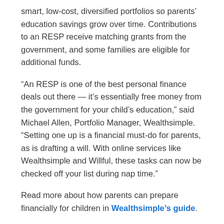smart, low-cost, diversified portfolios so parents' education savings grow over time. Contributions to an RESP receive matching grants from the government, and some families are eligible for additional funds.
“An RESP is one of the best personal finance deals out there — it’s essentially free money from the government for your child’s education,” said Michael Allen, Portfolio Manager, Wealthsimple. “Setting one up is a financial must-do for parents, as is drafting a will. With online services like Wealthsimple and Willful, these tasks can now be checked off your list during nap time.”
Read more about how parents can prepare financially for children in Wealthsimple’s guide.
Survey Methodology